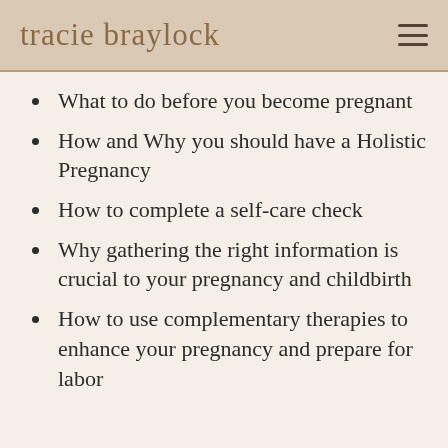tracie braylock
What to do before you become pregnant
How and Why you should have a Holistic Pregnancy
How to complete a self-care check
Why gathering the right information is crucial to your pregnancy and childbirth
How to use complementary therapies to enhance your pregnancy and prepare for labor